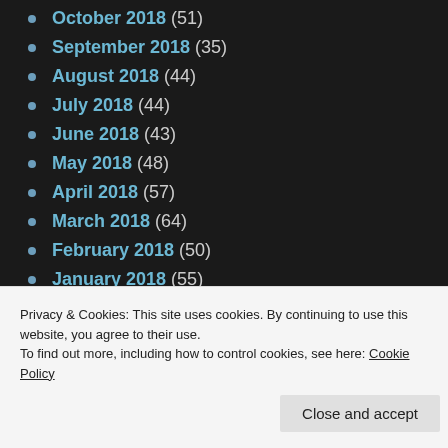October 2018 (51)
September 2018 (35)
August 2018 (44)
July 2018 (44)
June 2018 (43)
May 2018 (48)
April 2018 (57)
March 2018 (64)
February 2018 (50)
January 2018 (55)
December 2017 (48)
November 2017 (54)
Privacy & Cookies: This site uses cookies. By continuing to use this website, you agree to their use. To find out more, including how to control cookies, see here: Cookie Policy
Close and accept